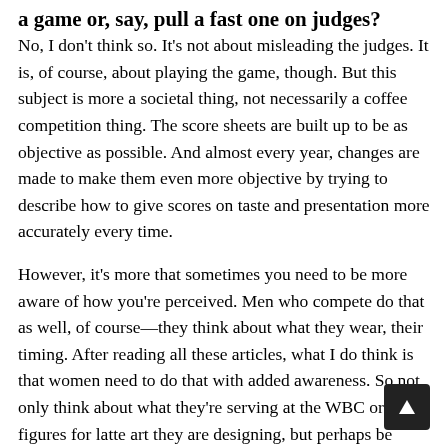a game or, say, pull a fast one on judges?
No, I don't think so. It's not about misleading the judges. It is, of course, about playing the game, though. But this subject is more a societal thing, not necessarily a coffee competition thing. The score sheets are built up to be as objective as possible. And almost every year, changes are made to make them even more objective by trying to describe how to give scores on taste and presentation more accurately every time.
However, it's more that sometimes you need to be more aware of how you're perceived. Men who compete do that as well, of course—they think about what they wear, their timing. After reading all these articles, what I do think is that women need to do that with added awareness. So not only think about what they're serving at the WBC or what figures for latte art they are designing, but perhaps be more aware of how they present, including what they wear—it's not just